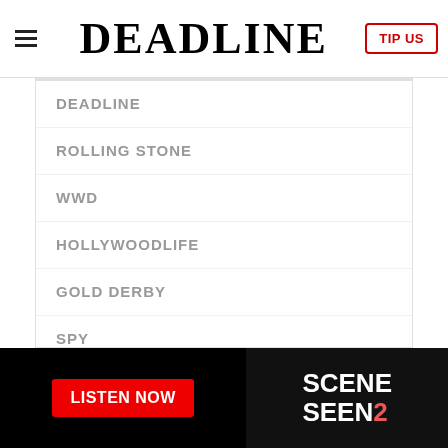DEADLINE — TIP US
DEADLINE
ROLLING STONE
WWD
HOLLYWOODLIFE
GOLD DERBY
SPY
ROBB REPORT
FOOTWEAR NEWS
BGR
INDIEWIRE
[Figure (screenshot): Advertisement banner at the bottom with 'LISTEN NOW' button on black background and SCENE 2 SEEN logo]